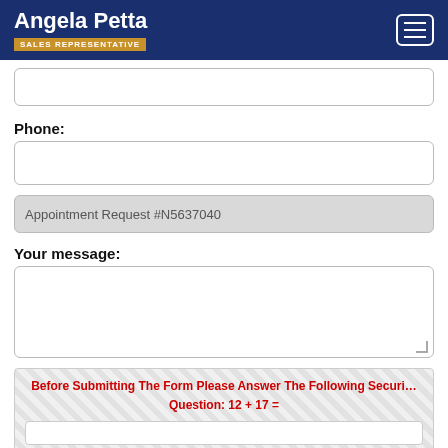Angela Petta — SALES REPRESENTATIVE
(empty input field)
Phone:
(empty phone input field)
Appointment Request #N5637040
Your message:
(empty message textarea)
Before Submitting The Form Please Answer The Following Security Question: 12 + 17 =